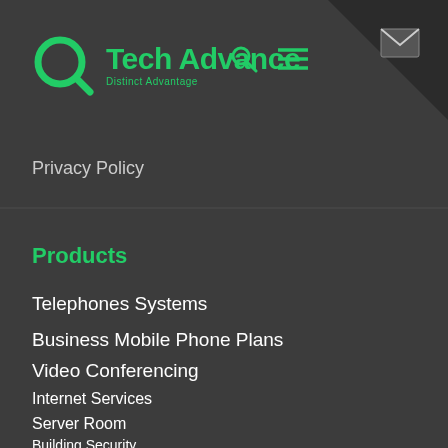[Figure (logo): Tech Advance logo with green Q circle icon and 'Tech Advance / Distinct Advantage' text in green, plus search and hamburger menu icons and mail envelope icon]
Privacy Policy
Products
Telephones Systems
Business Mobile Phone Plans
Video Conferencing
Internet Services
Server Room
Building Security
Services
Managed Voice and Data Services